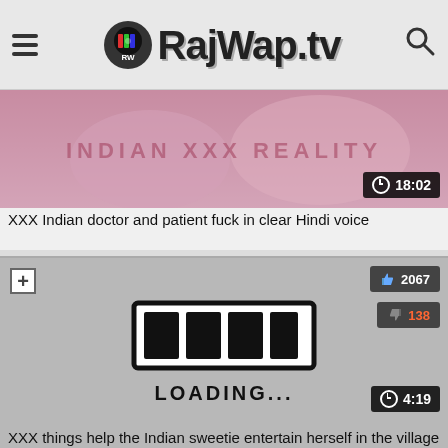RajWap.tv
[Figure (screenshot): Video thumbnail showing Indian XXX Reality content, pink/purple colored background with text overlay]
XXX Indian doctor and patient fuck in clear Hindi voice
[Figure (screenshot): Video player showing loading screen with loading bar graphic and LOADING... text, gray background. Like count: 2067, dislike count: 138, duration: 4:19]
XXX things help the Indian sweetie entertain herself in the village